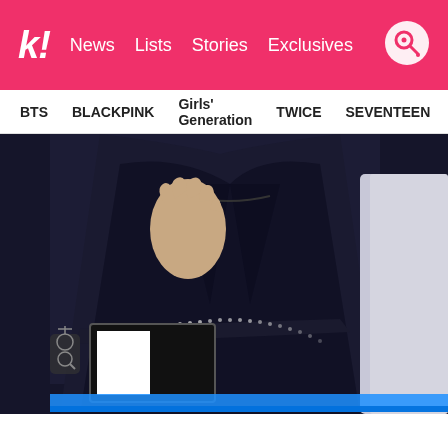k! News Lists Stories Exclusives
BTS BLACKPINK Girls' Generation TWICE SEVENTEEN
[Figure (photo): A person wearing a black blazer with rhinestone belt, hand raised to chest, at what appears to be an awards show or live event. A TV screen with a white rectangle displayed is visible in the lower left. A person in white is partially visible on the right.]